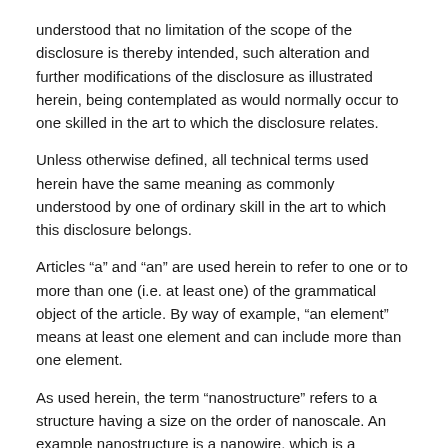understood that no limitation of the scope of the disclosure is thereby intended, such alteration and further modifications of the disclosure as illustrated herein, being contemplated as would normally occur to one skilled in the art to which the disclosure relates.
Unless otherwise defined, all technical terms used herein have the same meaning as commonly understood by one of ordinary skill in the art to which this disclosure belongs.
Articles “a” and “an” are used herein to refer to one or to more than one (i.e. at least one) of the grammatical object of the article. By way of example, “an element” means at least one element and can include more than one element.
As used herein, the term “nanostructure” refers to a structure having a size on the order of nanoscale. An example nanostructure is a nanowire, which is a nanoscale rod made of semiconducting material. A nanowire may have a diameter on the order of 1-1000 nanometers (10⁻⁹ meters).
As used herein, the term “noble metal” refers to those metals that are resistant to corrosion and oxidation in...